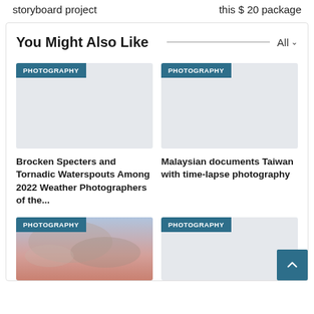storyboard project
this $ 20 package
You Might Also Like
[Figure (photo): Placeholder image with PHOTOGRAPHY badge for article about Brocken Specters and Tornadic Waterspouts]
Brocken Specters and Tornadic Waterspouts Among 2022 Weather Photographers of the...
[Figure (photo): Placeholder image with PHOTOGRAPHY badge for article about Malaysian documents Taiwan]
Malaysian documents Taiwan with time-lapse photography
[Figure (photo): Sky/clouds photograph with PHOTOGRAPHY badge]
[Figure (photo): Placeholder image with PHOTOGRAPHY badge]